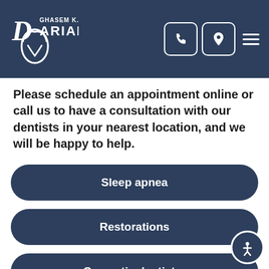GHASEM K. DARIAN
Please schedule an appointment online or call us to have a consultation with our dentists in your nearest location, and we will be happy to help.
Sleep apnea
Restorations
Cosmetic dentistry